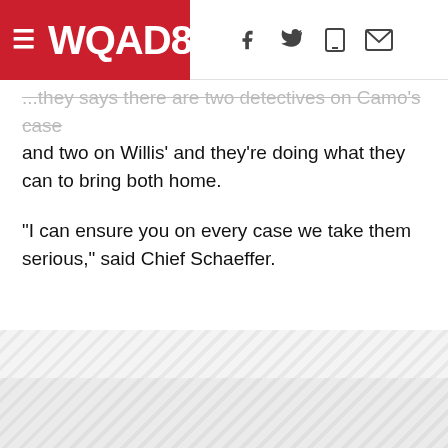WQAD8
...they says there are two detectives on Camo's case and two on Willis' and they're doing what they can to bring both home.
"I can ensure you on every case we take them serious," said Chief Schaeffer.